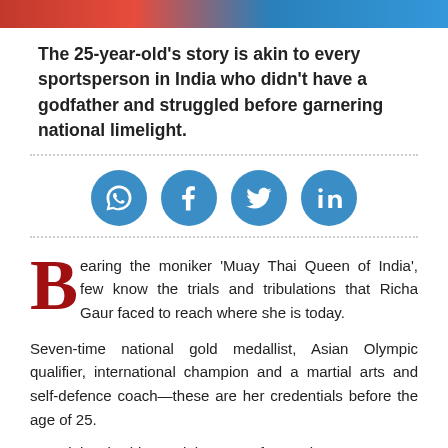[Figure (photo): Top image strip showing a sports photo with red and blue colors]
The 25-year-old's story is akin to every sportsperson in India who didn't have a godfather and struggled before garnering national limelight.
[Figure (infographic): Social media sharing icons: WhatsApp, Facebook, Twitter, LinkedIn — all in blue circles]
Bearing the moniker 'Muay Thai Queen of India', few know the trials and tribulations that Richa Gaur faced to reach where she is today.
Seven-time national gold medallist, Asian Olympic qualifier, international champion and a martial arts and self-defence coach—these are her credentials before the age of 25.
Incredulously, this martial arts ace from Jaipur was